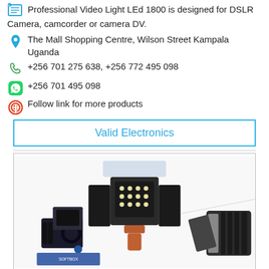Professional Video Light LEd 1800 is designed for DSLR Camera, camcorder or camera DV.
The Mall Shopping Centre, Wilson Street Kampala Uganda
+256 701 275 638, +256 772 495 098
+256 701 495 098
Follow link for more products
Valid Electronics
[Figure (photo): Product photo showing multiple professional video LED lights for cameras, including a central LED panel light with barn doors and orange mount, and additional compact video lights]